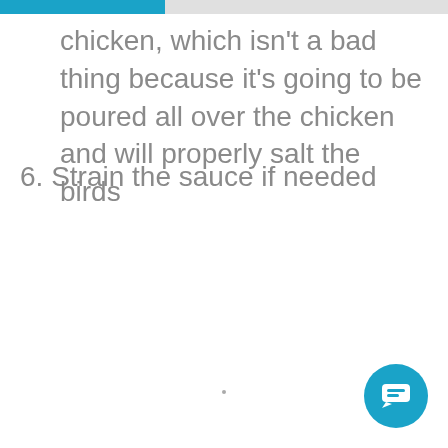chicken, which isn't a bad thing because it's going to be poured all over the chicken and will properly salt the birds
6. Strain the sauce if needed